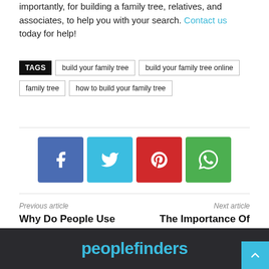importantly, for building a family tree, relatives, and associates, to help you with your search. Contact us today for help!
TAGS  build your family tree  build your family tree online  family tree  how to build your family tree
[Figure (infographic): Social share buttons: Facebook (blue), Twitter (cyan), Pinterest (red), WhatsApp (green)]
Previous article
Why Do People Use Fake Names On Social Media?
Next article
The Importance Of Password Protection
peoplefinders